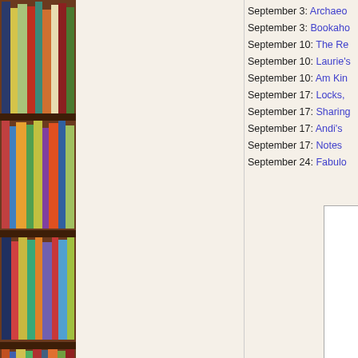[Figure (photo): Bookshelf with colorful books arranged on wooden shelves, spanning the full left side of the page]
September 3: Archaeo...
September 3: Bookaho...
September 10: The Re...
September 10: Laurie'...
September 10: Am Kin...
September 17: Locks,...
September 17: Sharing...
September 17: Andi's ...
September 17: Notes ...
September 24: Fabulo...
[Figure (screenshot): A partially visible white rectangular box/widget in the lower right area]